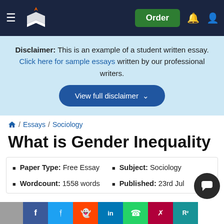Navigation bar with logo and Order button
Disclaimer: This is an example of a student written essay. Click here for sample essays written by our professional writers.
View full disclaimer
Home / Essays / Sociology
What is Gender Inequality
Paper Type: Free Essay | Subject: Sociology | Wordcount: 1558 words | Published: 23rd Jul